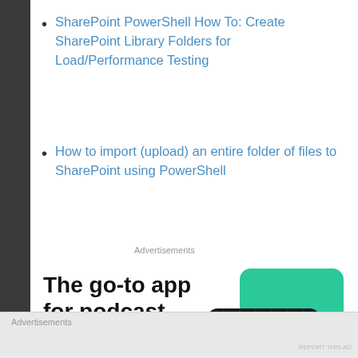SharePoint PowerShell How To: Create SharePoint Library Folders for Load/Performance Testing
How to import (upload) an entire folder of files to SharePoint using PowerShell
Advertisements
[Figure (illustration): Advertisement for a podcast app. Text reads: 'The go-to app for podcast lovers. Download now' with an image of podcast app cards including '99% Invisible'.]
Advertisements